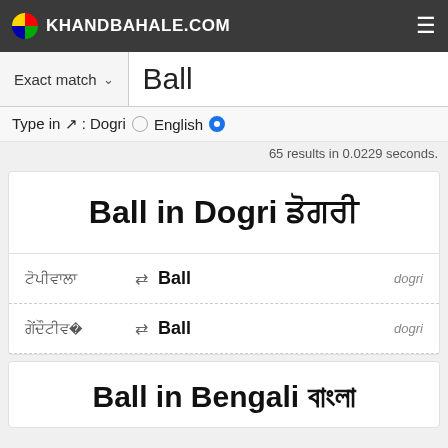KHANDBAHALE.COM
Exact match   Ball
Type in ↗ : Dogri  English
65 results in 0.0229 seconds.
Ball in Dogri ডোগরি
ডোগরিতে ⇄ Ball  dogri
ডোগরিতেও ⇄ Ball  dogri
Ball in Bengali বাংলা